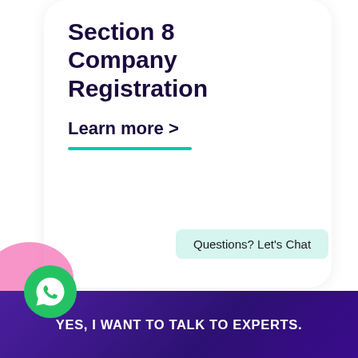Section 8 Company Registration
Learn more >
[Figure (illustration): WhatsApp chat button with green circular icon and teal chat bubble saying 'Questions? Let's Chat']
Questions? Let's Chat
YES, I WANT TO TALK TO EXPERTS.